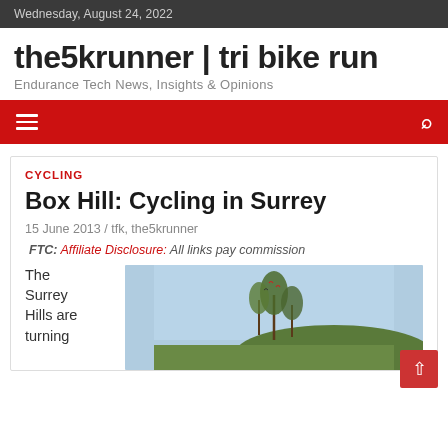Wednesday, August 24, 2022
the5krunner | tri bike run
Endurance Tech News, Insights & Opinions
CYCLING
Box Hill: Cycling in Surrey
15 June 2013 / tfk, the5krunner
FTC: Affiliate Disclosure: All links pay commission
The Surrey Hills are turning
[Figure (photo): Photo of trees against a light blue sky, with cyclists or birds visible, outdoor nature scene at Box Hill Surrey]